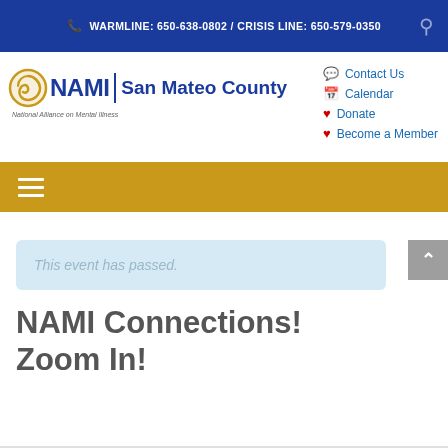WARMLINE: 650-638-0802 / CRISIS LINE: 650-579-0350
[Figure (logo): NAMI San Mateo County logo with circular swirl icon and text]
Contact Us
Calendar
Donate
Become a Member
This event has passed.
NAMI Connections! Zoom In!